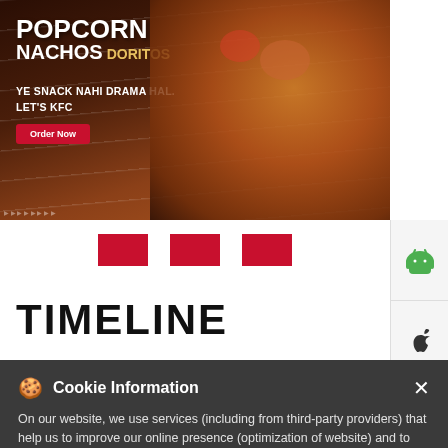[Figure (screenshot): KFC advertisement banner showing Popcorn Nachos Doritos promotion with text 'YE SNACK NAHI DRAMA HAL. LET'S KFC' and 'Order Now' button, with food photography on brown/wood background]
[Figure (screenshot): Website navigation carousel with three red rectangle indicator dots and sidebar with Android and Apple app store icons]
TIMELINE
🍪 Cookie Information

On our website, we use services (including from third-party providers) that help us to improve our online presence (optimization of website) and to display content that is geared to their interests. We need your consent before being able to use these services.
I ACCEPT